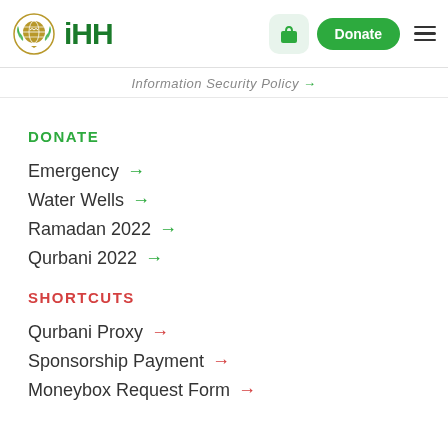[Figure (logo): IHH Humanitarian Relief Foundation logo with globe and laurel wreath in gold/green, and IHH text in dark green]
iHH | Donate | Menu
Information Security Policy →
DONATE
Emergency →
Water Wells →
Ramadan 2022 →
Qurbani 2022 →
SHORTCUTS
Qurbani Proxy →
Sponsorship Payment →
Moneybox Request Form →